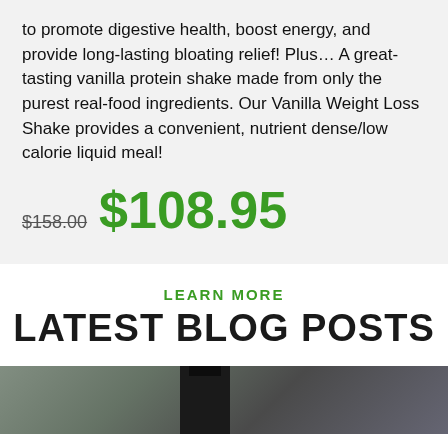to promote digestive health, boost energy, and provide long-lasting bloating relief! Plus… A great-tasting vanilla protein shake made from only the purest real-food ingredients. Our Vanilla Weight Loss Shake provides a convenient, nutrient dense/low calorie liquid meal!
$158.00 $108.95
LEARN MORE
LATEST BLOG POSTS
[Figure (photo): Bottom strip showing a dark bottle against a blurred background]